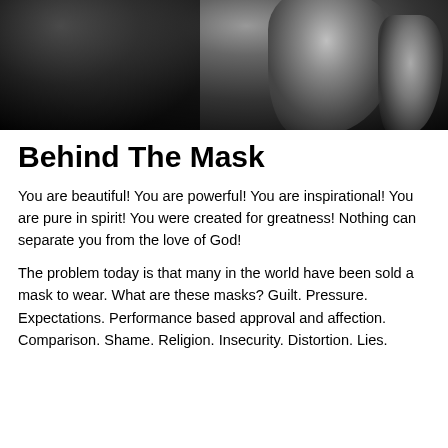[Figure (photo): Black and white close-up photo of a person's shoulder and raised arm against a dark background]
Behind The Mask
You are beautiful!  You are powerful!  You are inspirational!  You are pure in spirit!  You were created for greatness!  Nothing can separate you from the love of God!
The problem today is that many in the world have been sold a mask to wear.  What are these masks?  Guilt.  Pressure.  Expectations.  Performance based approval and affection.  Comparison.  Shame.  Religion.  Insecurity.  Distortion.  Lies.